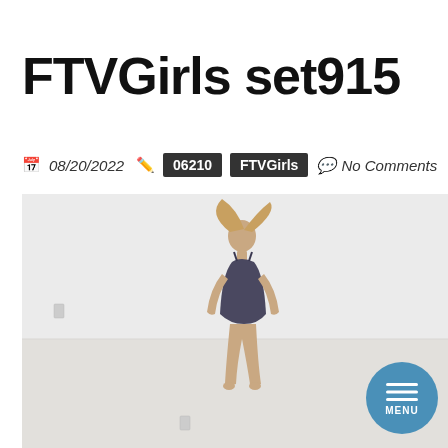FTVGirls set915
08/20/2022  06210  FTVGirls  No Comments
[Figure (photo): Woman in dark bodysuit/swimsuit standing in a white studio room, photographed from behind/side, long hair, arms slightly out. A circular blue menu button with horizontal lines and 'MENU' text is overlaid at the bottom right.]